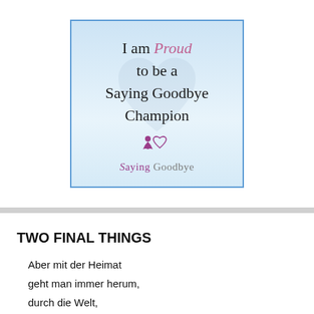[Figure (illustration): Badge image with light blue gradient background and border reading 'I am Proud to be a Saying Goodbye Champion' with the Saying Goodbye logo at the bottom]
TWO FINAL THINGS
Aber mit der Heimat
geht man immer herum,
durch die Welt,